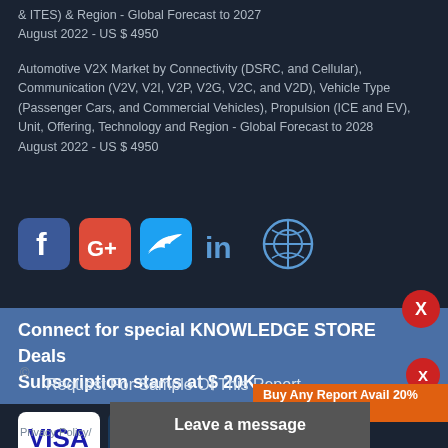& ITES) & Region - Global Forecast to 2027
August 2022 - US $ 4950
Automotive V2X Market by Connectivity (DSRC, and Cellular), Communication (V2V, V2I, V2P, V2G, V2C, and V2D), Vehicle Type (Passenger Cars, and Commercial Vehicles), Propulsion (ICE and EV), Unit, Offering, Technology and Region - Global Forecast to 2028
August 2022 - US $ 4950
[Figure (infographic): Social media icons: Facebook, Google+, Twitter, LinkedIn, WordPress]
Connect for special KNOWLEDGE STORE Deals
Subscription starts at $ 20K
[Figure (infographic): Payment method logos: VISA, Mastercard, American Express]
Request For Sample Of This Report
Buy Any Report Avail 20% Code:
Leave a message